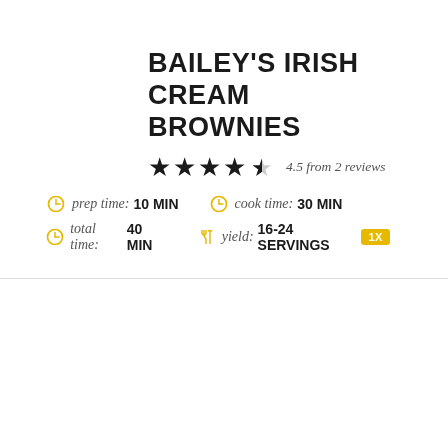BAILEY'S IRISH CREAM BROWNIES
★★★★½ 4.5 from 2 reviews
prep time: 10 MIN   cook time: 30 MIN
total time: 40 MIN   yield: 16-24 SERVINGS 1X